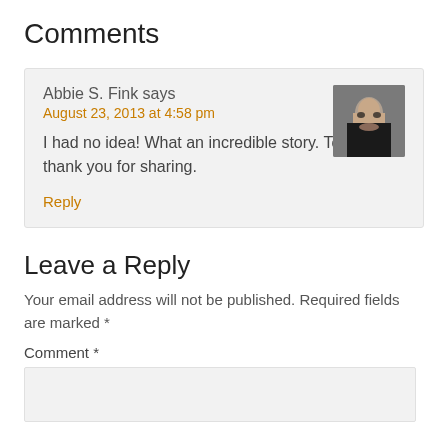Comments
Abbie S. Fink says
August 23, 2013 at 4:58 pm
I had no idea! What an incredible story. Tom, thank you for sharing.
Reply
Leave a Reply
Your email address will not be published. Required fields are marked *
Comment *